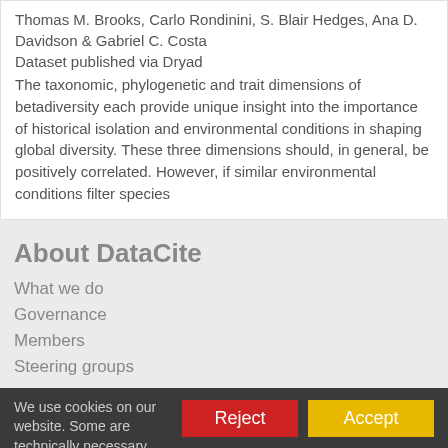Thomas M. Brooks, Carlo Rondinini, S. Blair Hedges, Ana D. Davidson & Gabriel C. Costa
Dataset published via Dryad
The taxonomic, phylogenetic and trait dimensions of betadiversity each provide unique insight into the importance of historical isolation and environmental conditions in shaping global diversity. These three dimensions should, in general, be positively correlated. However, if similar environmental conditions filter species
About DataCite
What we do
Governance
Members
Steering groups
We use cookies on our website. Some are technically necessary, others help us.